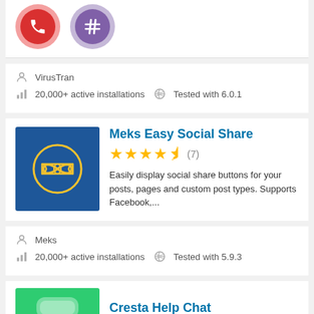[Figure (illustration): Two circular icon buttons: a red phone icon and a purple hash/pound icon, part of Button Contact VR plugin]
VirusTran
20,000+ active installations  Tested with 6.0.1
[Figure (illustration): Meks Easy Social Share plugin thumbnail: dark blue square with yellow bowtie/infinity icon in a circle]
Meks Easy Social Share
★★★★½ (7)
Easily display social share buttons for your posts, pages and custom post types. Supports Facebook,...
Meks
20,000+ active installations  Tested with 5.9.3
Cresta Help Chat
[Figure (illustration): Cresta Help Chat plugin thumbnail: green rounded rectangle]